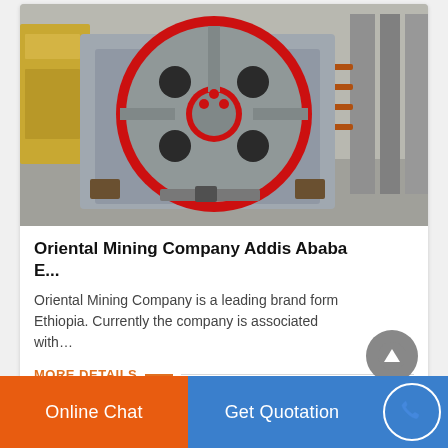[Figure (photo): Industrial mining machine (jaw crusher) with red circular flywheel, grey metal body, sitting on a warehouse floor. Yellow equipment and metal plates visible in background.]
Oriental Mining Company Addis Ababa E...
Oriental Mining Company is a leading brand form Ethiopia. Currently the company is associated with…
MORE DETAILS
Online Chat
Get Quotation